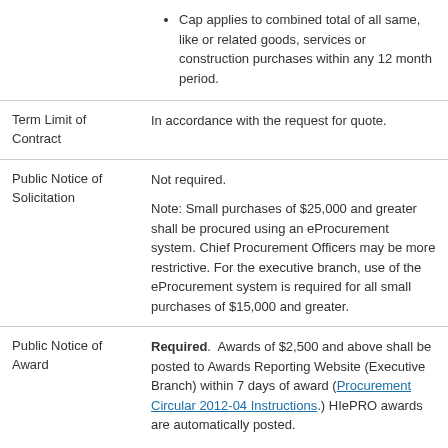Cap applies to combined total of all same, like or related goods, services or construction purchases within any 12 month period.
| Term Limit of Contract | In accordance with the request for quote. |
| Public Notice of Solicitation | Not required.

Note: Small purchases of $25,000 and greater shall be procured using an eProcurement system. Chief Procurement Officers may be more restrictive. For the executive branch, use of the eProcurement system is required for all small purchases of $15,000 and greater. |
| Public Notice of Award | Required.  Awards of $2,500 and above shall be posted to Awards Reporting Website (Executive Branch) within 7 days of award (Procurement Circular 2012-04 Instructions.) HIePRO awards are automatically posted. |